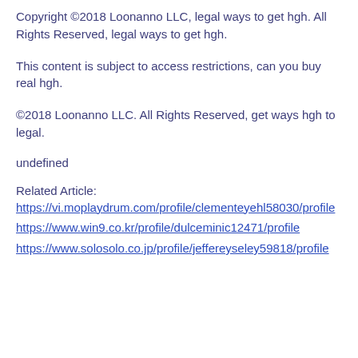Copyright ©2018 Loonanno LLC, legal ways to get hgh. All Rights Reserved, legal ways to get hgh.
This content is subject to access restrictions, can you buy real hgh.
©2018 Loonanno LLC. All Rights Reserved, get ways hgh to legal.
undefined
Related Article:
https://vi.moplaydrum.com/profile/clementeyehl58030/profile
https://www.win9.co.kr/profile/dulceminic12471/profile
https://www.solosolo.co.jp/profile/jeffereyseley59818/profile